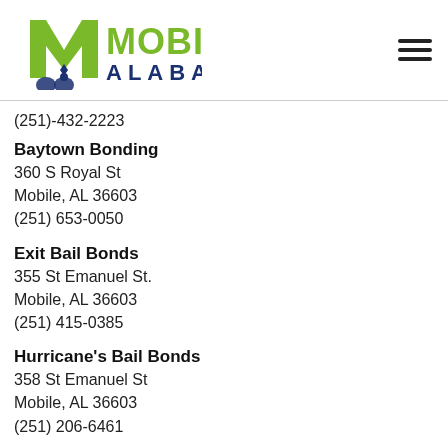[Figure (logo): Mobile Alabama city logo with green M and blue Alabama text with decorative blue swirl icon]
(251)-432-2223
Baytown Bonding
360 S Royal St
Mobile, AL 36603
(251) 653-0050
Exit Bail Bonds
355 St Emanuel St.
Mobile, AL 36603
(251) 415-0385
Hurricane's Bail Bonds
358 St Emanuel St
Mobile, AL 36603
(251) 206-6461